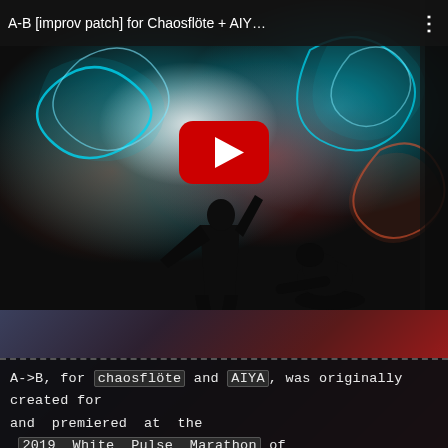[Figure (screenshot): YouTube video thumbnail showing two performers on a dark stage with colorful blue and red light projections in the background. A large red YouTube play button is centered on the thumbnail. The video title bar at the top reads 'A-B [improv patch] for Chaosflöte + AIY...' with a three-dot menu icon.]
A->B, for chaosflöte and AIYA, was originally created for and premiered at the 2019 White Pulse Marathon of